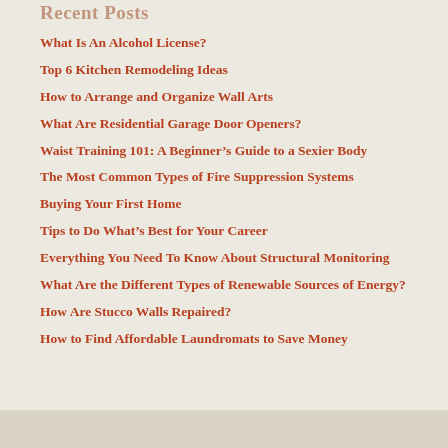Recent Posts
What Is An Alcohol License?
Top 6 Kitchen Remodeling Ideas
How to Arrange and Organize Wall Arts
What Are Residential Garage Door Openers?
Waist Training 101: A Beginner's Guide to a Sexier Body
The Most Common Types of Fire Suppression Systems
Buying Your First Home
Tips to Do What's Best for Your Career
Everything You Need To Know About Structural Monitoring
What Are the Different Types of Renewable Sources of Energy?
How Are Stucco Walls Repaired?
How to Find Affordable Laundromats to Save Money